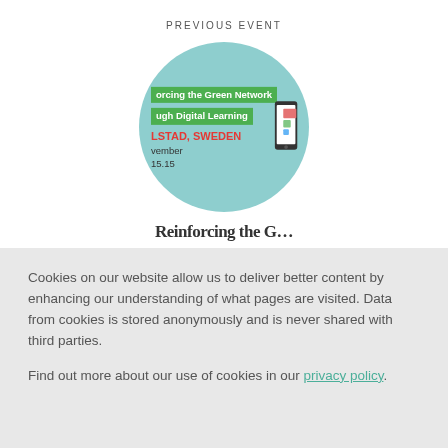PREVIOUS EVENT
[Figure (illustration): Circular cropped promotional image for an event about reinforcing the Green Network through Digital Learning, held in Karlstad, Sweden. Shows a teal/mint circle with green highlighted text and red location text, with a partial phone/tablet illustration on the right side.]
Reinforcing the G…
Cookies on our website allow us to deliver better content by enhancing our understanding of what pages are visited. Data from cookies is stored anonymously and is never shared with third parties.
Find out more about our use of cookies in our privacy policy.